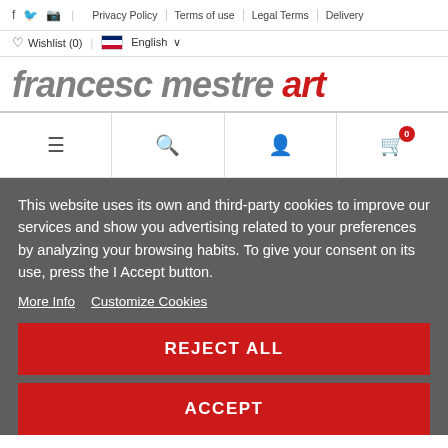Privacy Policy | Terms of use | Legal Terms | Delivery | Wishlist (0) | English
francesc mestre art
[Figure (screenshot): Navigation icon bar with hamburger menu, search, user account, and shopping cart (0 items) icons]
This website uses its own and third-party cookies to improve our services and show you advertising related to your preferences by analyzing your browsing habits. To give your consent on its use, press the I Accept button.
More Info
Customize Cookies
REJECT ALL
ACCEPT